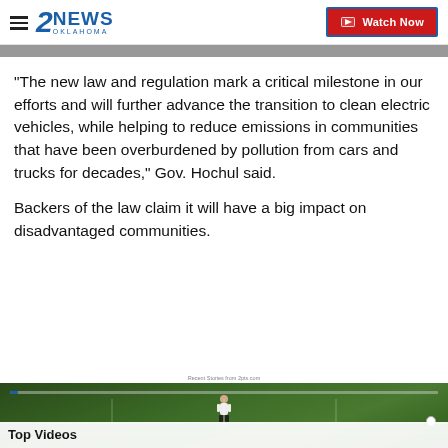2NEWS OKLAHOMA — Watch Now
"The new law and regulation mark a critical milestone in our efforts and will further advance the transition to clean electric vehicles, while helping to reduce emissions in communities that have been overburdened by pollution from cars and trucks for decades," Gov. Hochul said.
Backers of the law claim it will have a big impact on disadvantaged communities.
[Figure (screenshot): Video player showing a football field with a player, with a progress bar and 'Top Videos' label overlay at the bottom]